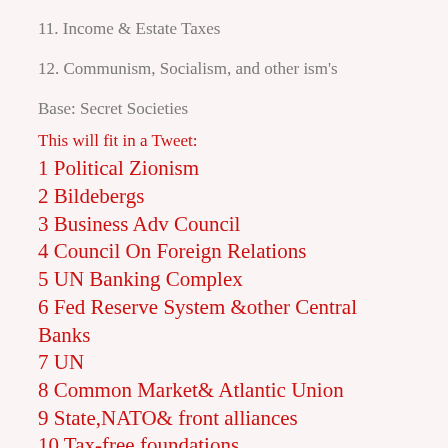11. Income & Estate Taxes
12. Communism, Socialism, and other ism's
Base: Secret Societies
This will fit in a Tweet:
1 Political Zionism
2 Bildebergs
3 Business Adv Council
4 Council On Foreign Relations
5 UN Banking Complex
6 Fed Reserve System &other Central Banks
7 UN
8 Common Market& Atlantic Union
9 State,NATO& front alliances
10 Tax-free foundations